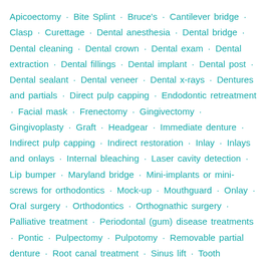Apicoectomy · Bite Splint · Bruce's · Cantilever bridge · Clasp · Curettage · Dental anesthesia · Dental bridge · Dental cleaning · Dental crown · Dental exam · Dental extraction · Dental fillings · Dental implant · Dental post · Dental sealant · Dental veneer · Dental x-rays · Dentures and partials · Direct pulp capping · Endodontic retreatment · Facial mask · Frenectomy · Gingivectomy · Gingivoplasty · Graft · Headgear · Immediate denture · Indirect pulp capping · Indirect restoration · Inlay · Inlays and onlays · Internal bleaching · Laser cavity detection · Lip bumper · Maryland bridge · Mini-implants or mini-screws for orthodontics · Mock-up · Mouthguard · Onlay · Oral surgery · Orthodontics · Orthognathic surgery · Palliative treatment · Periodontal (gum) disease treatments · Pontic · Pulpectomy · Pulpotomy · Removable partial denture · Root canal treatment · Sinus lift · Tooth